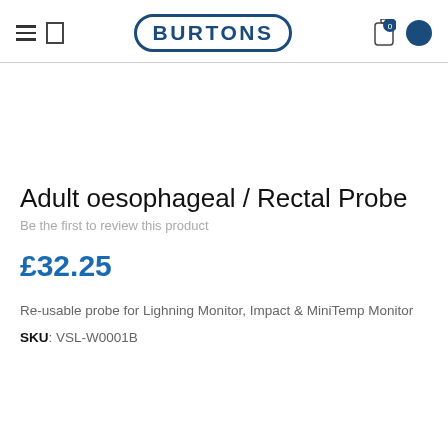BURTONS
Adult oesophageal / Rectal Probe
Be the first to review this product
£32.25
Re-usable probe for Lighning Monitor, Impact & MiniTemp Monitor
SKU: VSL-W0001B